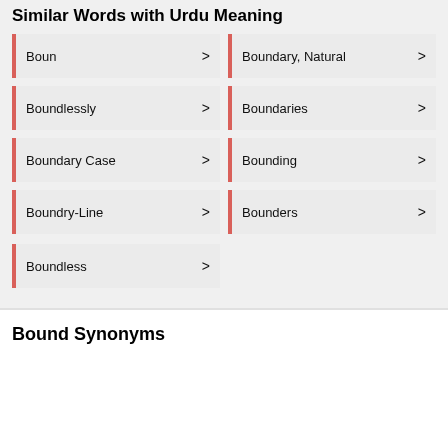Similar Words with Urdu Meaning
Boun
Boundary, Natural
Boundlessly
Boundaries
Boundary Case
Bounding
Boundry-Line
Bounders
Boundless
Bound Synonyms